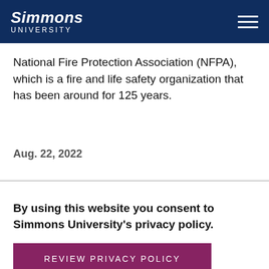Simmons University
National Fire Protection Association (NFPA), which is a fire and life safety organization that has been around for 125 years.
Aug. 22, 2022
By using this website you consent to Simmons University's privacy policy.
REVIEW PRIVACY POLICY
DISMISS